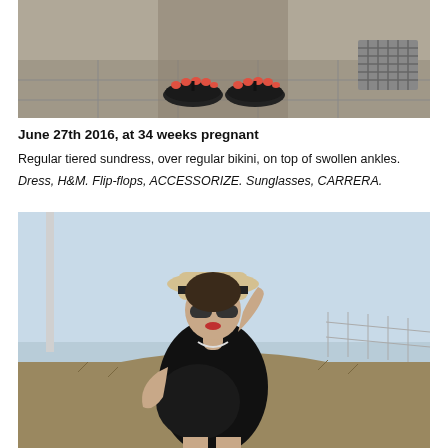[Figure (photo): Close-up photo showing feet/legs of a person wearing black flip-flops with orange toe nails, standing on stone/pavement surface.]
June 27th 2016, at 34 weeks pregnant
Regular tiered sundress, over regular bikini, on top of swollen ankles.
Dress, H&M. Flip-flops, ACCESSORIZE. Sunglasses, CARRERA.
[Figure (photo): Photo of a pregnant woman wearing a black sleeveless dress, sunglasses, and a straw hat with black band, standing outdoors on a hillside with dry grass and blue sky behind her.]